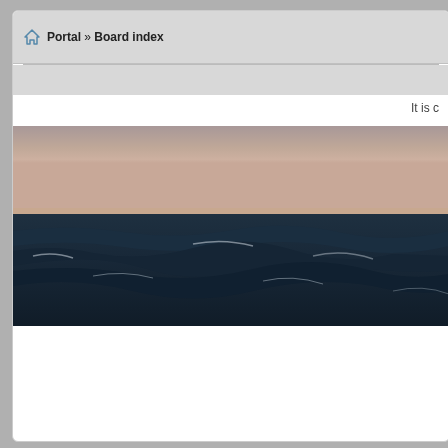[Figure (photo): Ocean/seascape photo showing dark choppy waves in the foreground and a dusky pinkish-grey sky at sunset in the background]
Portal » Board index
It is c
View unanswered posts • View active topics
| ALLGEMEIN | TOPICS |
| --- | --- |
| Allgemein
Subforums: Announcements, Requests, Suggestions & Feedback | 84 |